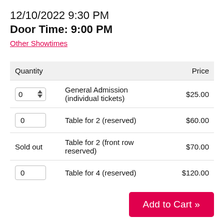12/10/2022 9:30 PM
Door Time: 9:00 PM
Other Showtimes
| Quantity |  | Price |
| --- | --- | --- |
| 0 ▲▼ | General Admission (individual tickets) | $25.00 |
| 0 | Table for 2 (reserved) | $60.00 |
| Sold out | Table for 2 (front row reserved) | $70.00 |
| 0 | Table for 4 (reserved) | $120.00 |
Add to Cart »
Now d. Cla...